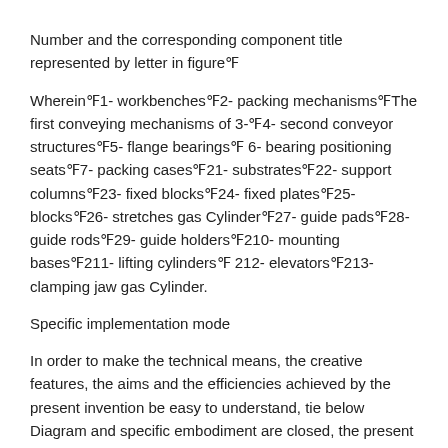Number and the corresponding component title represented by letter in figure⑗
Wherein⑗1- workbenches⑗2- packing mechanisms⑗The first conveying mechanisms of 3-⑗4- second conveyor structures⑗5- flange bearings⑗ 6- bearing positioning seats⑗7- packing cases⑗21- substrates⑗22- support columns⑗23- fixed blocks⑗24- fixed plates⑗25- blocks⑗26- stretches gas Cylinder⑗27- guide pads⑗28- guide rods⑗29- guide holders⑗210- mounting bases⑗211- lifting cylinders⑗ 212- elevators⑗213- clamping jaw gas Cylinder.
Specific implementation mode
In order to make the technical means, the creative features, the aims and the efficiencies achieved by the present invention be easy to understand, tie below Diagram and specific embodiment are closed, the present invention is further explained.
As shown in Figure 1, a kind of flange bearing packing apparatus proposed by the present invention, including workbench 1, further include being welded in The packing